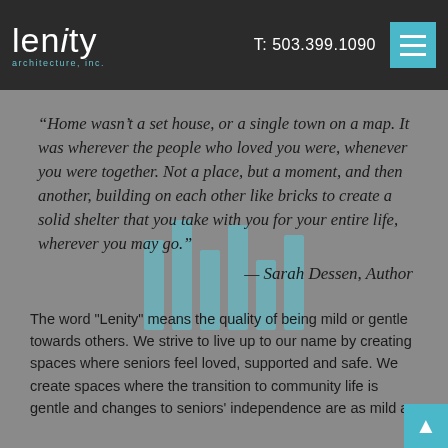lenity architecture, inc. | T: 503.399.1090
“Home wasn’t a set house, or a single town on a map. It was wherever the people who loved you were, whenever you were together. Not a place, but a moment, and then another, building on each other like bricks to create a solid shelter that you take with you for your entire life, wherever you may go.” — Sarah Dessen, Author
The word "Lenity" means the quality of being mild or gentle towards others. We strive to live up to our name by creating spaces where seniors feel loved, supported and safe. We create spaces where the transition to community life is gentle and changes to seniors' independence are as mild as